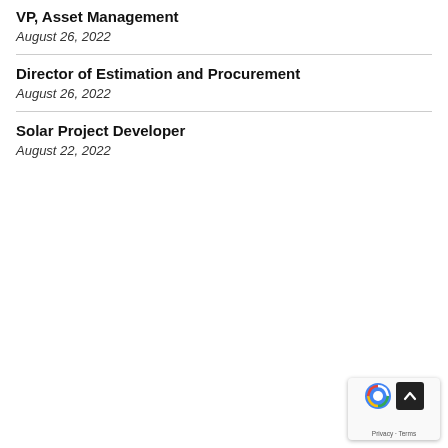VP, Asset Management
August 26, 2022
Director of Estimation and Procurement
August 26, 2022
Solar Project Developer
August 22, 2022